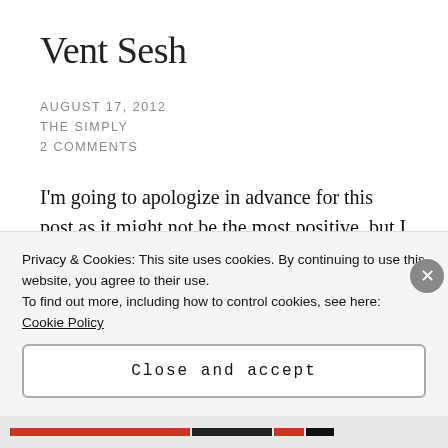Vent Sesh
AUGUST 17, 2012
THE SIMPLY
2 COMMENTS
I'm going to apologize in advance for this post as it might not be the most positive, but I feel it needs to be said and this is my way of saying it.
I was out and about in beautiful, sunny Vancouver
Privacy & Cookies: This site uses cookies. By continuing to use this website, you agree to their use.
To find out more, including how to control cookies, see here: Cookie Policy
Close and accept